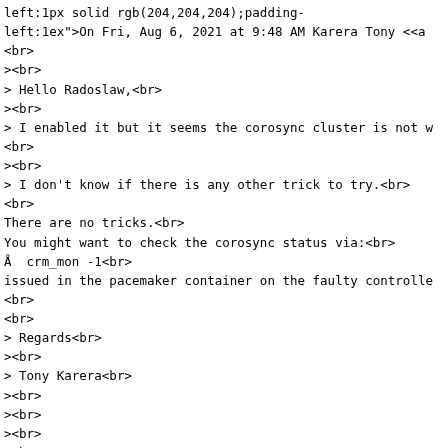left:1px solid rgb(204,204,204);padding-left:1ex">On Fri, Aug 6, 2021 at 9:48 AM Karera Tony <<a
<br>
><br>
> Hello Radoslaw,<br>
><br>
> I enabled it but it seems the corosync cluster is not w
<br>
><br>
> I don't know if there is any other trick to try.<br>
<br>
There are no tricks.<br>
You might want to check the corosync status via:<br>
Â  crm_mon -1<br>
issued in the pacemaker container on the faulty controlle
<br>
<br>
> Regards<br>
><br>
> Tony Karera<br>
><br>
><br>
><br>
><br>
> On Thu, Aug 5, 2021 at 3:26 PM RadosÅ‚aw Piliszek <<a h
<br>
>><br>
>> On Mon, Aug 2, 2021 at 6:19 PM Karera Tony <<a href="m
<br>
>> ><br>